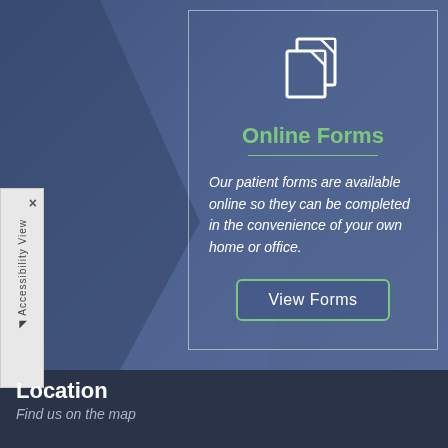[Figure (illustration): Two overlapping document/form pages icon in white outline style]
Online Forms
Our patient forms are available online so they can be completed in the convenience of your own home or office.
View Forms
Location
Find us on the map